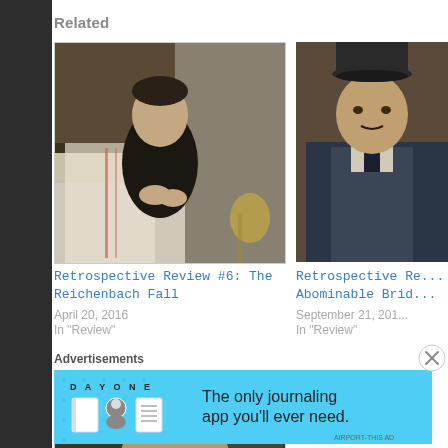Related
[Figure (photo): Man in dark suit sitting in chair with hands together, from Sherlock TV show]
Retrospective Review #6: The Reichenbach Fall
April 20, 2016
In "Review"
[Figure (photo): Man in Victorian dress with top hat, partially cropped, from Sherlock TV show]
Retrospective Re...
Abominable Brid...
September 21, 201...
In "Review"
[Figure (photo): Man in close-up shot, partially visible, from Sherlock TV show]
Advertisements
[Figure (infographic): Day One journaling app advertisement banner. Text: DAY ONE - The only journaling app you'll ever need. Shows notebook and character icons on blue background.]